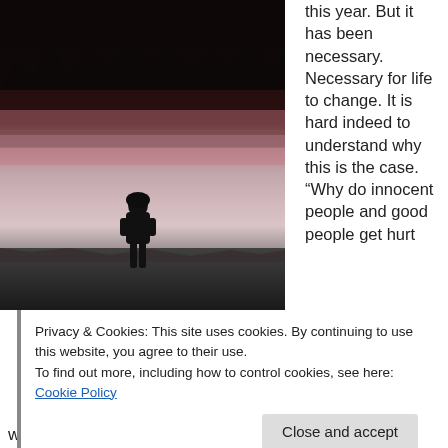[Figure (photo): Person standing at the edge of a lake at dusk/dawn, silhouetted against a pink and grey sky reflected on the water, with dark conifer trees in the background.]
this year. But it has been necessary. Necessary for life to change. It is hard indeed to understand why this is the case. “Why do innocent people and good people get hurt
Privacy & Cookies: This site uses cookies. By continuing to use this website, you agree to their use.
To find out more, including how to control cookies, see here: Cookie Policy
Close and accept
ways, values, behaviours and goals?